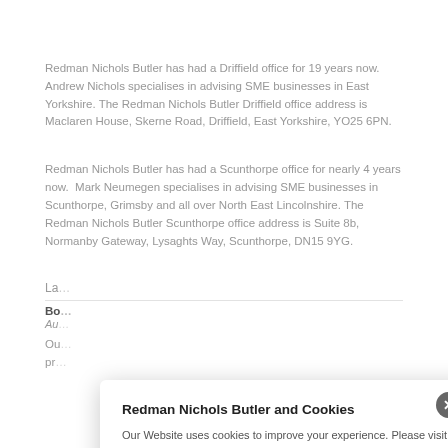Redman Nichols Butler has had a Driffield office for 19 years now. Andrew Nichols specialises in advising SME businesses in East Yorkshire. The Redman Nichols Butler Driffield office address is Maclaren House, Skerne Road, Driffield, East Yorkshire, YO25 6PN.
Redman Nichols Butler has had a Scunthorpe office for nearly 4 years now. Mark Neumegen specialises in advising SME businesses in Scunthorpe, Grimsby and all over North East Lincolnshire. The Redman Nichols Butler Scunthorpe office address is Suite 8b, Normanby Gateway, Lysaghts Way, Scunthorpe, DN15 9YG.
La...
Bo...
Au...
Ou... pr...
Redman Nichols Butler and Cookies

Our Website uses cookies to improve your experience. Please visit our Redman Nichols Butler Privacy Policy for more information about cookies and how we use them.